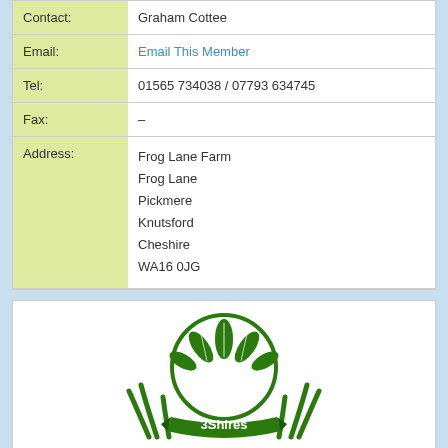| Field | Value |
| --- | --- |
| Contact: | Graham Cottee |
| Email: | Email This Member |
| Tel: | 01565 734038 / 07793 634745 |
| Fax: | – |
| Address: | Frog Lane Farm
Frog Lane
Pickmere
Knutsford
Cheshire
WA16 0JG |
[Figure (logo): 3 Shires logo — green circular emblem with leaf/plant motif and banner reading '3Shires']